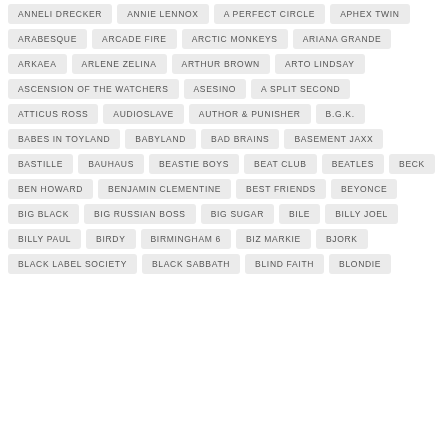ANNELI DRECKER
ANNIE LENNOX
A PERFECT CIRCLE
APHEX TWIN
ARABESQUE
ARCADE FIRE
ARCTIC MONKEYS
ARIANA GRANDE
ARKAEA
ARLENE ZELINA
ARTHUR BROWN
ARTO LINDSAY
ASCENSION OF THE WATCHERS
ASESINO
A SPLIT SECOND
ATTICUS ROSS
AUDIOSLAVE
AUTHOR & PUNISHER
B.G.K.
BABES IN TOYLAND
BABYLAND
BAD BRAINS
BASEMENT JAXX
BASTILLE
BAUHAUS
BEASTIE BOYS
BEAT CLUB
BEATLES
BECK
BEN HOWARD
BENJAMIN CLEMENTINE
BEST FRIENDS
BEYONCE
BIG BLACK
BIG RUSSIAN BOSS
BIG SUGAR
BILE
BILLY JOEL
BILLY PAUL
BIRDY
BIRMINGHAM 6
BIZ MARKIE
BJORK
BLACK LABEL SOCIETY
BLACK SABBATH
BLIND FAITH
BLONDIE